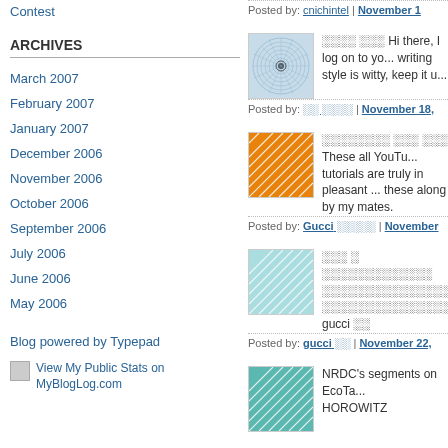Contest
ARCHIVES
March 2007
February 2007
January 2007
December 2006
November 2006
October 2006
September 2006
July 2006
June 2006
May 2006
Blog powered by Typepad
View My Public Stats on MyBlogLog.com
Posted by: cnichintel | November 1
[Figure (illustration): Circular geometric pattern on light blue background]
Hi there, I log on to yo... writing style is witty, keep it u...
Posted by: | November 18,
[Figure (illustration): Orange background with white diagonal lines/network pattern]
These all YouTu... tutorials are truly in pleasant ... these along by my mates.
Posted by: Gucci | November
[Figure (illustration): Light blue background with white diagonal lines/network pattern]
gucci
Posted by: gucci | November 22,
[Figure (illustration): Teal/green background with white diagonal lines/network pattern]
NRDC's segments on EcoTa... HOROWITZ